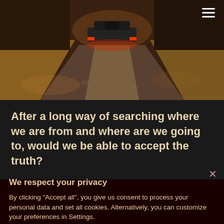[Figure (photo): A car driving away down a rural road at dusk/night with red brake lights visible, trees on the sides, warm and dramatic lighting. A hamburger menu icon appears in the top-right corner.]
After a long way of searching where we are from and where are we going to, would we be able to accept the truth?
We respect your privacy
By clicking "Accept all", you give us consent to process your personal data and set all cookies. Alternatively, you can customize your preferences in Settings.
ACCEPT ALL
SETTINGS